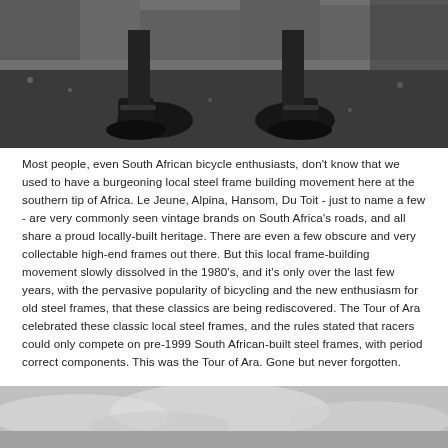[Figure (photo): Black and white photograph showing a close-up of cyclist's feet and shoes standing on gravelly ground, viewed from behind.]
Most people, even South African bicycle enthusiasts, don't know that we used to have a burgeoning local steel frame building movement here at the southern tip of Africa. Le Jeune, Alpina, Hansom, Du Toit - just to name a few - are very commonly seen vintage brands on South Africa's roads, and all share a proud locally-built heritage. There are even a few obscure and very collectable high-end frames out there. But this local frame-building movement slowly dissolved in the 1980's, and it's only over the last few years, with the pervasive popularity of bicycling and the new enthusiasm for old steel frames, that these classics are being rediscovered. The Tour of Ara celebrated these classic local steel frames, and the rules stated that racers could only compete on pre-1999 South African-built steel frames, with period correct components. This was the Tour of Ara. Gone but never forgotten.
[Figure (photo): Black and white photograph showing a landscape, partially visible at the bottom of the page, appearing to show clouds or waves.]